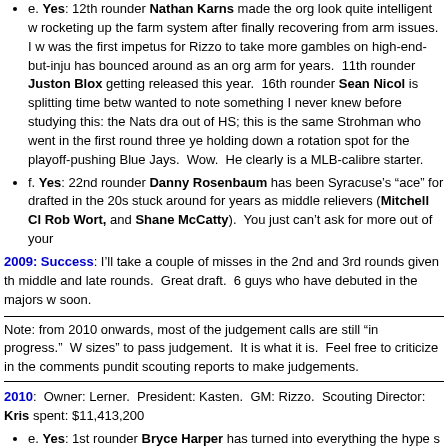e. Yes: 12th rounder Nathan Karns made the org look quite intelligent w... rocketing up the farm system after finally recovering from arm issues. I w... was the first impetus for Rizzo to take more gambles on high-end-but-inju... has bounced around as an org arm for years. 11th rounder Juston Blox... getting released this year. 16th rounder Sean Nicol is splitting time betw... wanted to note something I never knew before studying this: the Nats dra... out of HS; this is the same Strohman who went in the first round three ye... holding down a rotation spot for the playoff-pushing Blue Jays. Wow. He... clearly is a MLB-calibre starter.
f. Yes: 22nd rounder Danny Rosenbaum has been Syracuse's „ace“ for... drafted in the 20s stuck around for years as middle relievers (Mitchell Cl... Rob Wort, and Shane McCatty). You just can't ask for more out of your...
2009: Success: I'll take a couple of misses in the 2nd and 3rd rounds given th... middle and late rounds. Great draft. 6 guys who have debuted in the majors w... soon.
Note: from 2010 onwards, most of the judgement calls are still “in progress.” W... sizes” to pass judgement. It is what it is. Feel free to criticize in the comments... pundit scouting reports to make judgements.
2010: Owner: Lerner. President: Kasten. GM: Rizzo. Scouting Director: Kris... spent: $11,413,200
e. Yes: 1st rounder Bryce Harper has turned into everything the hype s...